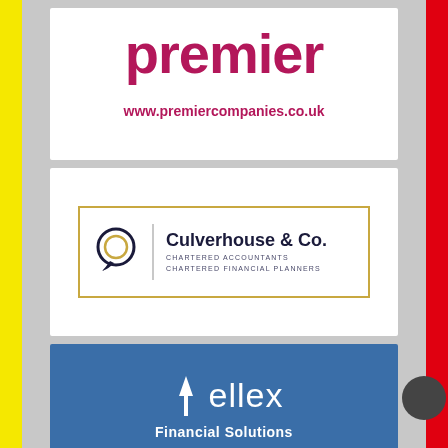[Figure (logo): Premier companies logo with text 'premier' in dark pink/crimson and URL www.premiercompanies.co.uk below]
[Figure (logo): Culverhouse & Co. Chartered Accountants Chartered Financial Planners logo with gold border, circular speech-bubble icon in navy and gold, and company name]
[Figure (logo): Ellex Financial Solutions logo on blue background with white upward arrow icon and white text]